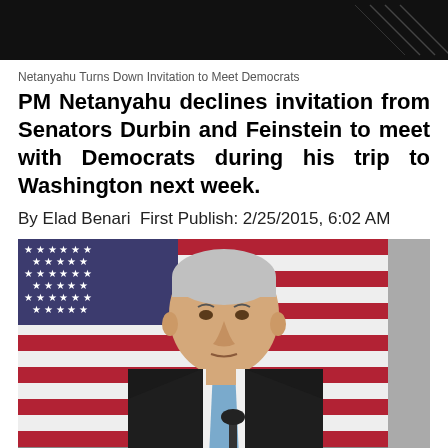[Figure (photo): Dark header image with diagonal lines on right side, dark background]
Netanyahu Turns Down Invitation to Meet Democrats
PM Netanyahu declines invitation from Senators Durbin and Feinstein to meet with Democrats during his trip to Washington next week.
By Elad Benari  First Publish: 2/25/2015, 6:02 AM
[Figure (photo): Photo of PM Netanyahu in dark suit and blue tie standing at a podium with microphone, American flag with stars and stripes visible in background]